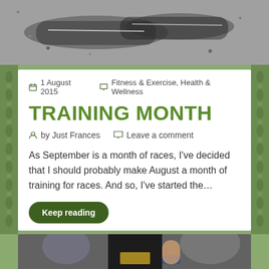[Figure (photo): Black and white photo of running shoes on pavement/gravel, top portion of page]
1 August 2015   Fitness & Exercise, Health & Wellness
TRAINING MONTH
by Just Frances   Leave a comment
As September is a month of races, I've decided that I should probably make August a month of training for races. And so, I've started the…
Keep reading
[Figure (photo): Photo of a person in a black tank top at what appears to be a race event, bottom portion of page]